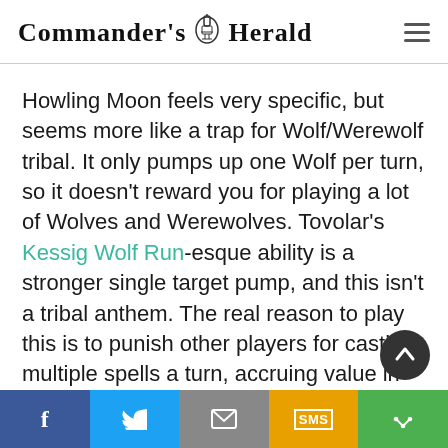Commander's Herald
Howling Moon feels very specific, but seems more like a trap for Wolf/Werewolf tribal. It only pumps up one Wolf per turn, so it doesn't reward you for playing a lot of Wolves and Werewolves. Tovolar's Kessig Wolf Run-esque ability is a stronger single target pump, and this isn't a tribal anthem. The real reason to play this is to punish other players for casting multiple spells a turn, accruing value in tokens as the game